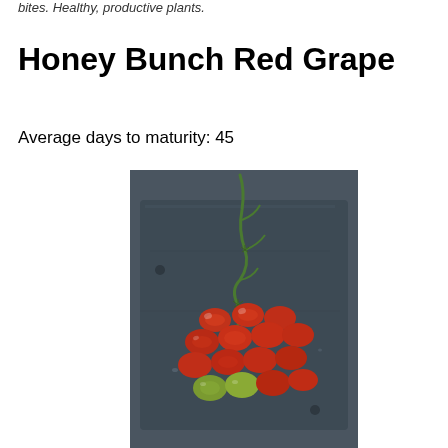bites. Healthy, productive plants.
Honey Bunch Red Grape
Average days to maturity: 45
[Figure (photo): A cluster of small oval red grape tomatoes on a dark slate board, with a green vine stem attached. A few tomatoes are still green/unripe. The tomatoes are glossy and varied in ripeness.]